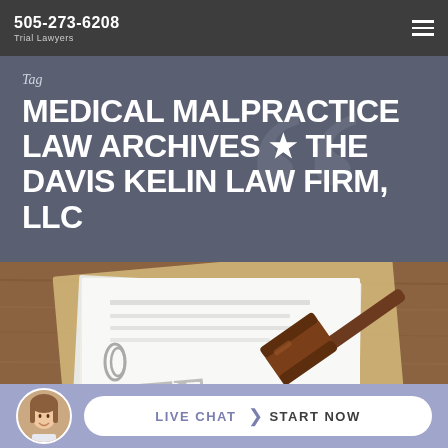505-273-6208 Trial Lawyers
Tag
MEDICAL MALPRACTICE LAW ARCHIVES ★ THE DAVIS KELIN LAW FIRM, LLC
[Figure (photo): Photo of legal documents with a wooden gavel resting on top, placed on a wooden desk surface]
LIVE CHAT | START NOW